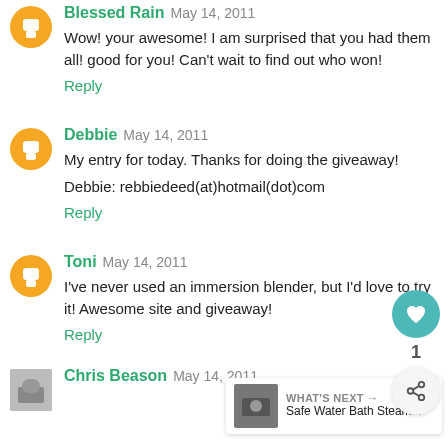Blessed Rain May 14, 2011
Wow! your awesome! I am surprised that you had them all! good for you! Can't wait to find out who won!
Reply
Debbie May 14, 2011
My entry for today. Thanks for doing the giveaway!
Debbie: rebbiedeed(at)hotmail(dot)com
Reply
Toni May 14, 2011
I've never used an immersion blender, but I'd love to try it! Awesome site and giveaway!
Reply
Chris Beason May 14, 2011